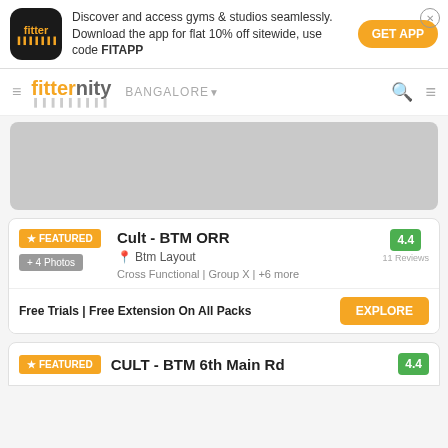[Figure (screenshot): Fitter app advertisement banner with logo, text, and GET APP button]
fitternity BANGALORE
[Figure (photo): Gray placeholder image for gym listing]
Cult - BTM ORR
Btm Layout
Cross Functional | Group X | +6 more
4.4 11 Reviews
Free Trials | Free Extension On All Packs
CULT - BTM 6th Main Rd